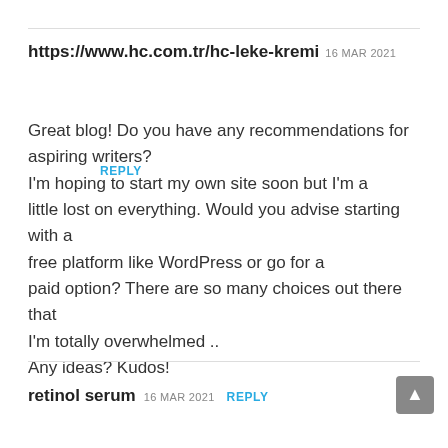https://www.hc.com.tr/hc-leke-kremi 16 MAR 2021
REPLY
Great blog! Do you have any recommendations for aspiring writers?
I'm hoping to start my own site soon but I'm a little lost on everything. Would you advise starting with a free platform like WordPress or go for a paid option? There are so many choices out there that I'm totally overwhelmed ..
Any ideas? Kudos!
retinol serum 16 MAR 2021 REPLY